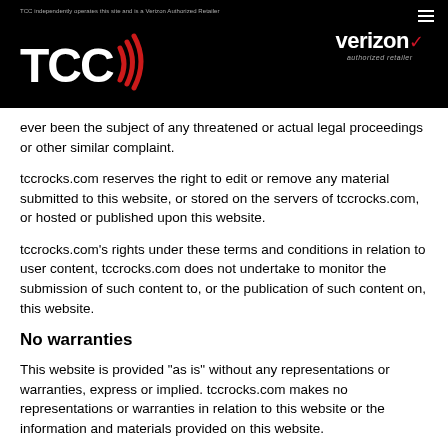TCC independently operates this site and is a Verizon Authorized Retailer
[Figure (logo): TCC logo with signal wave icon in red and white on black background]
[Figure (logo): Verizon authorized retailer logo in white and red on black background]
ever been the subject of any threatened or actual legal proceedings or other similar complaint.
tccrocks.com reserves the right to edit or remove any material submitted to this website, or stored on the servers of tccrocks.com, or hosted or published upon this website.
tccrocks.com’s rights under these terms and conditions in relation to user content, tccrocks.com does not undertake to monitor the submission of such content to, or the publication of such content on, this website.
No warranties
This website is provided “as is” without any representations or warranties, express or implied. tccrocks.com makes no representations or warranties in relation to this website or the information and materials provided on this website.
Without prejudice to the generality of the foregoing paragraph,